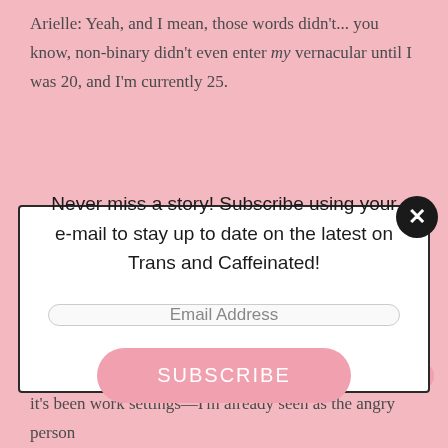Arielle: Yeah, and I mean, those words didn't... you know, non-binary didn't even enter my vernacular until I was 20, and I'm currently 25.
[Figure (screenshot): Modal popup with newsletter subscription prompt. Contains the text 'Never miss a story! Subscribe using your e-mail to stay up to date on the latest on Trans and Caffeinated!', an email address input field, and a pink SUBSCRIBE button. A close (X) button appears in the upper right corner of the modal.]
And, depending on the setting—and almost all the time, it's been work settings—I'm already seen as the angry person